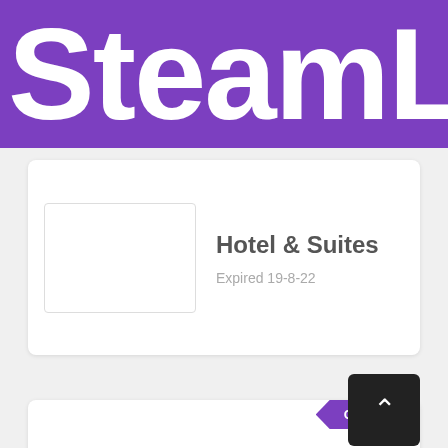SteamLo
Hotel & Suites
Expired 19-8-22
Coupons
Select Goods On Sale At Seralago Hotel & Suites
Expired 19-8-22
Coupons
Select Products On Sale At Seralago